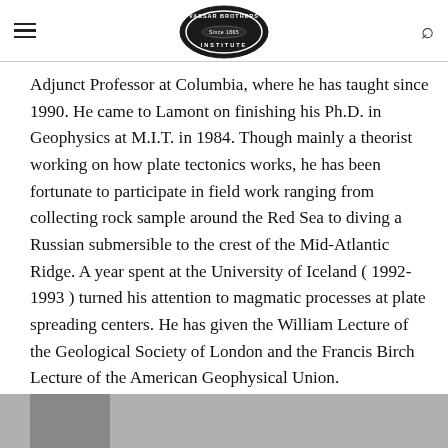Vassar Brothers Institute logo, hamburger menu, search icon
Adjunct Professor at Columbia, where he has taught since 1990. He came to Lamont on finishing his Ph.D. in Geophysics at M.I.T. in 1984. Though mainly a theorist working on how plate tectonics works, he has been fortunate to participate in field work ranging from collecting rock sample around the Red Sea to diving a Russian submersible to the crest of the Mid-Atlantic Ridge. A year spent at the University of Iceland ( 1992-1993 ) turned his attention to magmatic processes at plate spreading centers. He has given the William Lecture of the Geological Society of London and the Francis Birch Lecture of the American Geophysical Union.
[Figure (photo): Partial bottom image, partially visible photo at bottom of page]